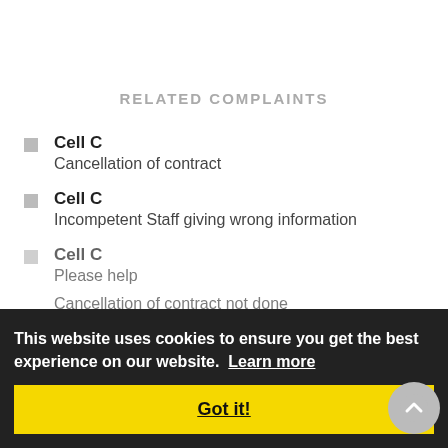RELATED COMPLAINTS
Cell C
Cancellation of contract
Cell C
Incompetent Staff giving wrong information
Cell C
Please help
Cancellation of contract not done
Cell C
Charged cancellation fee of R70.09
This website uses cookies to ensure you get the best experience on our website. Learn more
Got it!